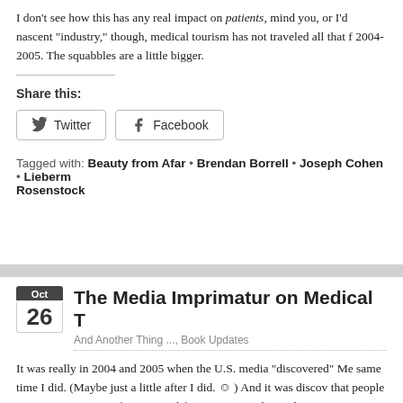I don't see how this has any real impact on patients, mind you, or I'd nascent "industry," though, medical tourism has not traveled all that f 2004-2005. The squabbles are a little bigger.
Share this:
Twitter  Facebook
Tagged with: Beauty from Afar • Brendan Borrell • Joseph Cohen • Lieberm Rosenstock
The Media Imprimatur on Medical T
And Another Thing ..., Book Updates
It was really in 2004 and 2005 when the U.S. media "discovered" Me same time I did. (Maybe just a little after I did. ☺ ) And it was discov that people were going overseas for serious, life-saving procedures, dentistry.